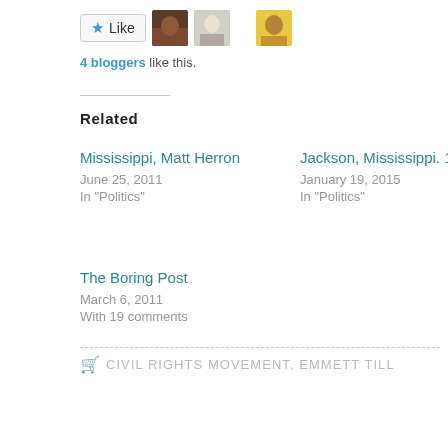[Figure (other): Like button with star icon and three blogger avatar thumbnails]
4 bloggers like this.
Related
Mississippi, Matt Herron
June 25, 2011
In "Politics"
Jackson, Mississippi. 1963.
January 19, 2015
In "Politics"
The Boring Post
March 6, 2011
With 19 comments
CIVIL RIGHTS MOVEMENT, EMMETT TILL